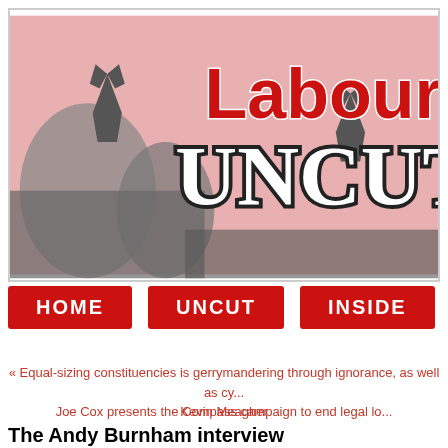[Figure (logo): Labour Uncut website banner logo with stylized graffiti-style text 'Labour UNCUT' in red and black on a pink/grey illustrated background]
[Figure (infographic): Navigation bar with three red buttons: HOME, UNCUT, INSIDE]
« Equal-sizing constituencies is gerrymandering through ignorance, as well as cy... Kevin Meagher
Joe Cox presents the Compass campaign to end legal lo...
The Andy Burnham interview